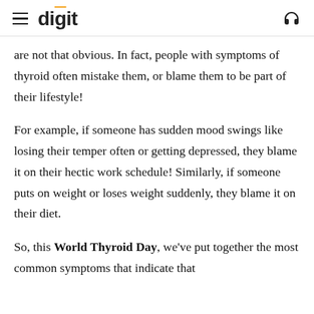digit
are not that obvious. In fact, people with symptoms of thyroid often mistake them, or blame them to be part of their lifestyle!
For example, if someone has sudden mood swings like losing their temper often or getting depressed, they blame it on their hectic work schedule! Similarly, if someone puts on weight or loses weight suddenly, they blame it on their diet.
So, this World Thyroid Day, we've put together the most common symptoms that indicate that